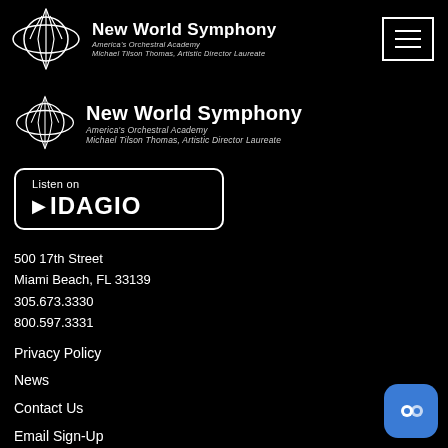[Figure (logo): New World Symphony logo with waveform graphic in header]
New World Symphony
America's Orchestral Academy
Michael Tilson Thomas, Artistic Director Laureate
[Figure (logo): New World Symphony logo with waveform graphic, larger version in main content]
New World Symphony
America's Orchestral Academy
Michael Tilson Thomas, Artistic Director Laureate
[Figure (logo): Listen on IDAGIO button]
500 17th Street
Miami Beach, FL 33139
305.673.3330
800.597.3331
Privacy Policy
News
Contact Us
Email Sign-Up
Musaic
Follow/Employee Portal